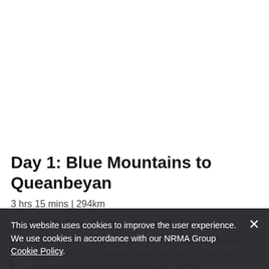[Figure (photo): White/blank image area at the top of the page, appears to be a placeholder for a photo]
Day 1: Blue Mountains to Queanbeyan
3 hrs 15 mins | 294km
Stop 1: Take a selfie with the Big Merino
From the Blue Mountains, take the M31 to Sydney Road in Boxers Creek for a straightforward journey to Goulburn, where you'll be greeted by Rambo. No, we're
This website uses cookies to improve the user experience. We use cookies in accordance with our NRMA Group Cookie Policy.